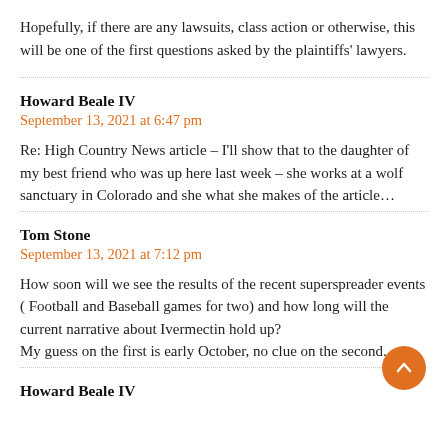Hopefully, if there are any lawsuits, class action or otherwise, this will be one of the first questions asked by the plaintiffs' lawyers.
Howard Beale IV
September 13, 2021 at 6:47 pm
Re: High Country News article – I'll show that to the daughter of my best friend who was up here last week – she works at a wolf sanctuary in Colorado and she what she makes of the article…
Tom Stone
September 13, 2021 at 7:12 pm
How soon will we see the results of the recent superspreader events ( Football and Baseball games for two) and how long will the current narrative about Ivermectin hold up?
My guess on the first is early October, no clue on the second.
Howard Beale IV